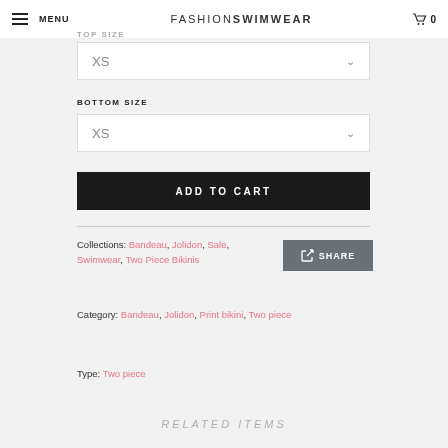MENU | FASHIONSWIMWEAR | 0
TOP SIZE
XS
BOTTOM SIZE
XS
ADD TO CART
Collections: Bandeau, Jolidon, Sale, Swimwear, Two Piece Bikinis
SHARE
Category: Bandeau, Jolidon, Print bikini, Two piece
Type: Two piece
RELATED ITEMS